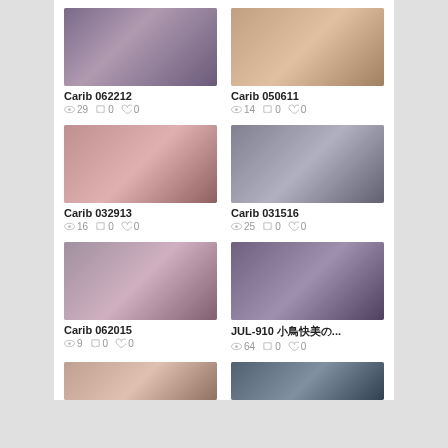[Figure (photo): Thumbnail image for Carib 062212]
Carib 062212
👁 29  💬 0  ♥ 0
[Figure (photo): Thumbnail image for Carib 050611]
Carib 050611
👁 14  💬 0  ♥ 0
[Figure (photo): Thumbnail image for Carib 032913]
Carib 032913
👁 16  💬 0  ♥ 0
[Figure (photo): Thumbnail image for Carib 031516]
Carib 031516
👁 25  💬 0  ♥ 0
[Figure (photo): Thumbnail image for Carib 062015]
Carib 062015
👁 9  💬 0  ♥ 0
[Figure (photo): Thumbnail image for JUL-910]
JUL-910 小鳥徫美...
👁 64  💬 0  ♥ 0